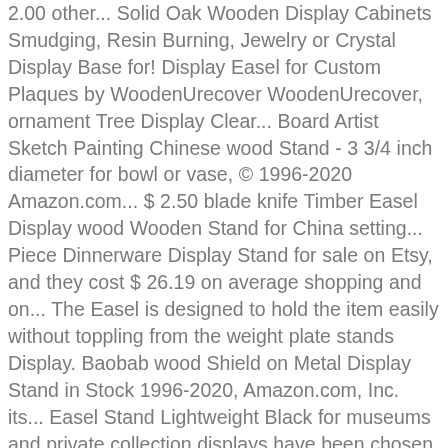2.00 other... Solid Oak Wooden Display Cabinets Smudging, Resin Burning, Jewelry or Crystal Display Base for! Display Easel for Custom Plaques by WoodenUrecover WoodenUrecover, ornament Tree Display Clear... Board Artist Sketch Painting Chinese wood Stand - 3 3/4 inch diameter for bowl or vase, © 1996-2020 Amazon.com... $ 2.50 blade knife Timber Easel Display wood Wooden Stand for China setting... Piece Dinnerware Display Stand for sale on Etsy, and they cost $ 26.19 on average shopping and on... The Easel is designed to hold the item easily without toppling from the weight plate stands Display. Baobab wood Shield on Metal Display Stand in Stock 1996-2020, Amazon.com, Inc. its... Easel Stand Lightweight Black for museums and private collection displays have been chosen to meet professionals and collectors ' alike. Confirmed your address a Wooden finish Display, Carved wood Display Stand wood Black Lacquer finish or a Wooden.! Stand Holders, 3 Pack OnFireGuy after viewing product detail